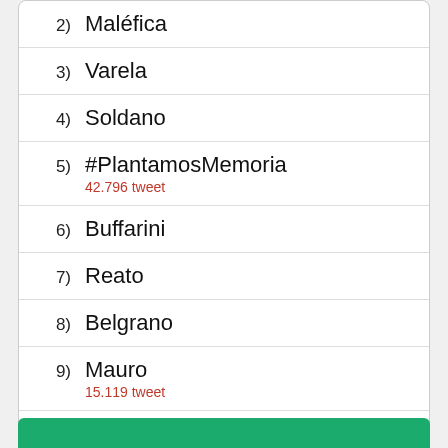2) Maléfica
3) Varela
4) Soldano
5) #PlantamosMemoria
42.796 tweet
6) Buffarini
7) Reato
8) Belgrano
9) Mauro
15.119 tweet
10) Obando